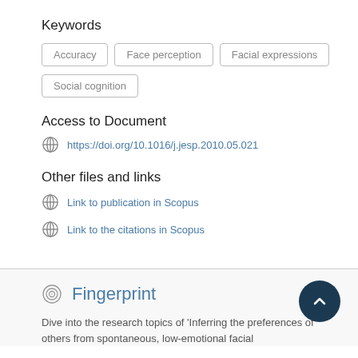Keywords
Accuracy
Face perception
Facial expressions
Social cognition
Access to Document
https://doi.org/10.1016/j.jesp.2010.05.021
Other files and links
Link to publication in Scopus
Link to the citations in Scopus
Fingerprint
Dive into the research topics of 'Inferring the preferences of others from spontaneous, low-emotional facial